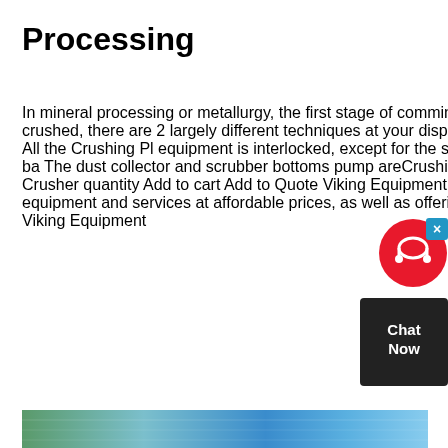Processing
In mineral processing or metallurgy, the first stage of comminution is crushing Depending of the type of rock (geometallurgy) to be crushed, there are 2 largely different techniques at your disposition for crushing rocks In principle,Crushing Plant Startup Sequence All the Crushing Pl equipment is interlocked, except for the sump pump, and therefore, the plant must be started from the fine ore bin ba The dust collector and scrubber bottoms pump areCrushing Plant Startup Sequence & ProcedureCleaning Pin For Mobile Crusher quantity Add to cart Add to Quote Viking Equipment Inc started in United States with the goal of providing quality excavator equipment and services at affordable prices, as well as offering superior value to all its customersCleaning Pin For Mobile Crusher Viking Equipment
[Figure (photo): Partial image strip at bottom of page showing green and blue toned industrial/nature imagery]
[Figure (other): Chat widget with red circle containing headset icon, close button, and dark box with 'Chat Now' text]